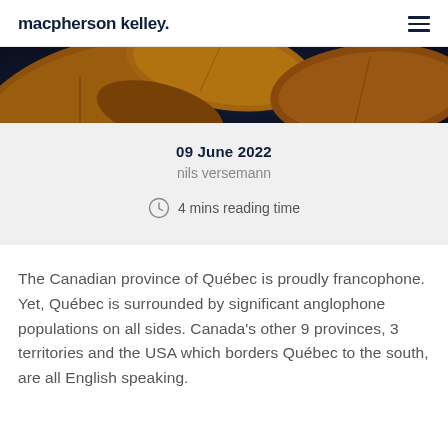macpherson kelley.
[Figure (photo): Close-up photograph of autumn leaves in golden-yellow and orange tones against a dark background.]
09 June 2022
nils versemann
4 mins reading time
The Canadian province of Québec is proudly francophone. Yet, Québec is surrounded by significant anglophone populations on all sides. Canada's other 9 provinces, 3 territories and the USA which borders Québec to the south, are all English speaking.